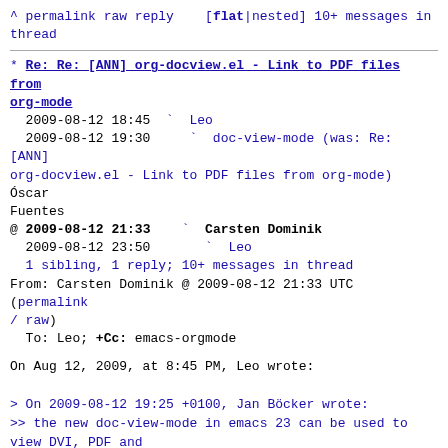^ permalink raw reply   [flat|nested] 10+ messages in thread
* Re: Re: [ANN] org-docview.el - Link to PDF files from org-mode
  2009-08-12 18:45  ` Leo
  2009-08-12 19:30    ` doc-view-mode (was: Re: [ANN] org-docview.el - Link to PDF files from org-mode) Oscar Fuentes
@ 2009-08-12 21:33    ` Carsten Dominik
  2009-08-12 23:50      ` Leo
  1 sibling, 1 reply; 10+ messages in thread
From: Carsten Dominik @ 2009-08-12 21:33 UTC (permalink / raw)
  To: Leo; +Cc: emacs-orgmode
On Aug 12, 2009, at 8:45 PM, Leo wrote:

> On 2009-08-12 19:25 +0100, Jan Böcker wrote:
>> the new doc-view-mode in emacs 23 can be used to view DVI, PDF and
>> PostScript files. I have written a custom link type for org-mode to
>> allow linking to those files from org-mode.
>
> If doc-view-mode could provide native support for those file types,
> it'd